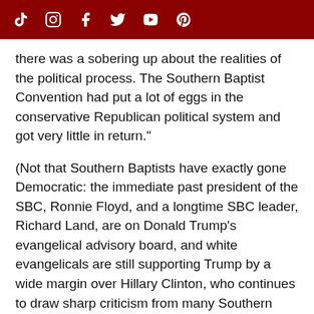[social media icons: TikTok, Instagram, Facebook, Twitter, YouTube, Pinterest]
there was a sobering up about the realities of the political process. The Southern Baptist Convention had put a lot of eggs in the conservative Republican political system and got very little in return."
(Not that Southern Baptists have exactly gone Democratic: the immediate past president of the SBC, Ronnie Floyd, and a longtime SBC leader, Richard Land, are on Donald Trump's evangelical advisory board, and white evangelicals are still supporting Trump by a wide margin over Hillary Clinton, who continues to draw sharp criticism from many Southern Baptists.)